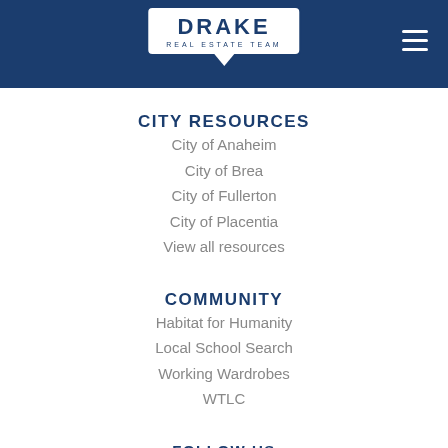DRAKE REAL ESTATE TEAM
CITY RESOURCES
City of Anaheim
City of Brea
City of Fullerton
City of Placentia
View all resources
COMMUNITY
Habitat for Humanity
Local School Search
Working Wardrobes
WTLC
FOLLOW US
[Figure (illustration): Social media icons: Facebook, Zillow/bookmark, Twitter, LinkedIn]